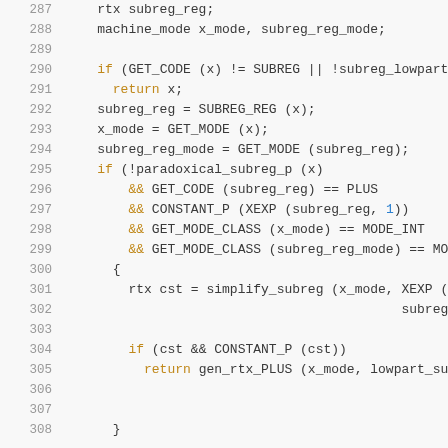Code listing lines 287-307, showing C source code for RTX subreg simplification function